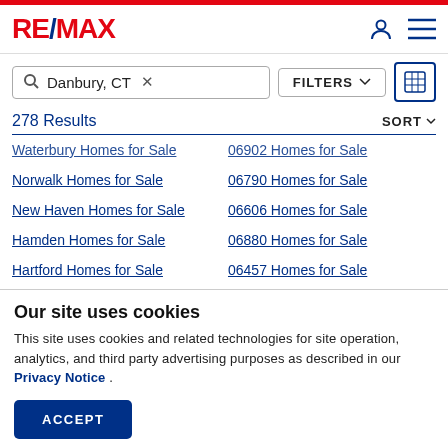RE/MAX
Danbury, CT — Search bar with FILTERS and map icon
278 Results  SORT
Waterbury Homes for Sale
06902 Homes for Sale
Norwalk Homes for Sale
06790 Homes for Sale
New Haven Homes for Sale
06606 Homes for Sale
Hamden Homes for Sale
06880 Homes for Sale
Hartford Homes for Sale
06457 Homes for Sale
Our site uses cookies
This site uses cookies and related technologies for site operation, analytics, and third party advertising purposes as described in our Privacy Notice .
ACCEPT